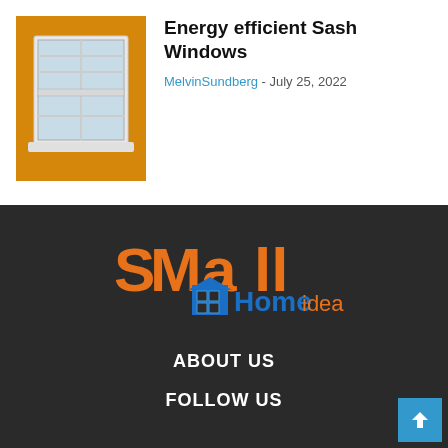[Figure (photo): Photo of a white sash window on an orange/yellow wooden wall]
Energy efficient Sash Windows
MelvinSundberg - July 25, 2022
[Figure (logo): Small Home Ideas logo with orange stylized text 'SMAll' and blue 'Home' with a house icon, and orange 'ideas']
ABOUT US
FOLLOW US